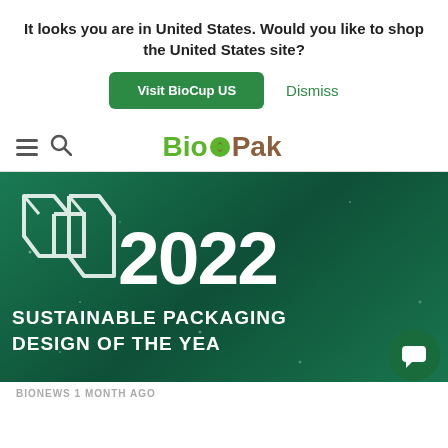It looks you are in United States. Would you like to shop the United States site?
Visit BioCup US
Dismiss
[Figure (logo): BioPak logo with green leaf icon]
[Figure (photo): 2022 Sustainable Packaging Design of the Year banner on a dark green background with geometric diamond logo]
BIONEWS  1 MONTH AGO